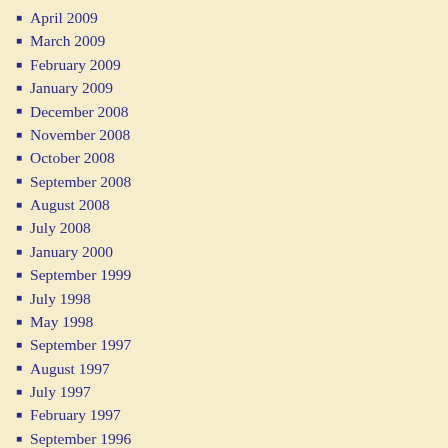April 2009
March 2009
February 2009
January 2009
December 2008
November 2008
October 2008
September 2008
August 2008
July 2008
January 2000
September 1999
July 1998
May 1998
September 1997
August 1997
July 1997
February 1997
September 1996
August 1996
September 1995
May 1995